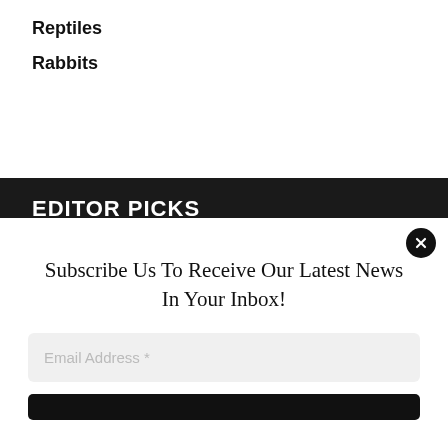Reptiles
Rabbits
EDITOR PICKS
Who Stars in Disney Channel's 'Hamster & Gretel' – Meet the...
Hamster  August 20, 2022
Subscribe Us To Receive Our Latest News In Your Inbox!
Email Address *